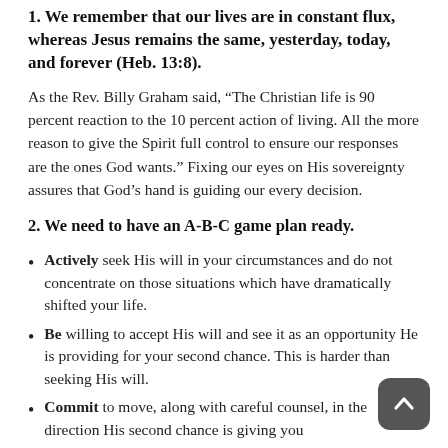1. We remember that our lives are in constant flux, whereas Jesus remains the same, yesterday, today, and forever (Heb. 13:8).
As the Rev. Billy Graham said, “The Christian life is 90 percent reaction to the 10 percent action of living. All the more reason to give the Spirit full control to ensure our responses are the ones God wants.” Fixing our eyes on His sovereignty assures that God’s hand is guiding our every decision.
2. We need to have an A-B-C game plan ready.
Actively seek His will in your circumstances and do not concentrate on those situations which have dramatically shifted your life.
Be willing to accept His will and see it as an opportunity He is providing for your second chance. This is harder than seeking His will.
Commit to move, along with careful counsel, in the direction His second chance is giving you